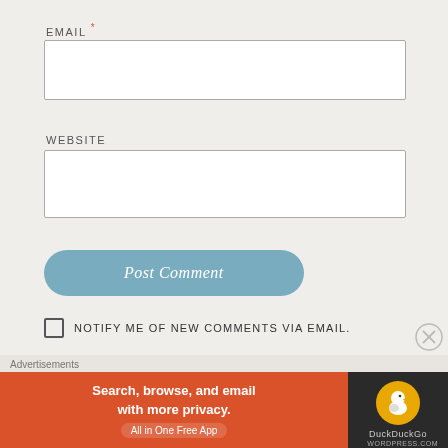EMAIL *
[Figure (other): Email input text field, empty, white background with border]
WEBSITE
[Figure (other): Website input text field, empty, white background with border]
Post Comment
NOTIFY ME OF NEW COMMENTS VIA EMAIL.
NOTIFY ME OF NEW POSTS VIA EMAIL.
Advertisements
[Figure (other): DuckDuckGo advertisement banner: orange section reads 'Search, browse, and email with more privacy. All in One Free App', dark section shows DuckDuckGo duck logo]